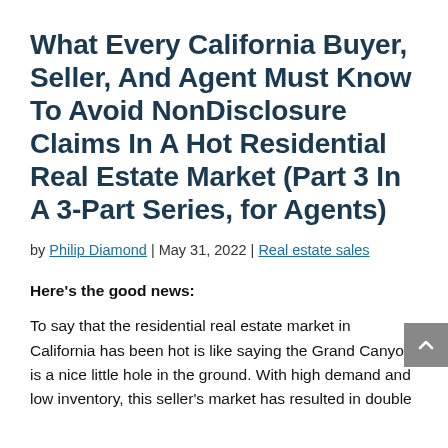What Every California Buyer, Seller, And Agent Must Know To Avoid NonDisclosure Claims In A Hot Residential Real Estate Market (Part 3 In A 3-Part Series, for Agents)
by Philip Diamond | May 31, 2022 | Real estate sales
Here's the good news:
To say that the residential real estate market in California has been hot is like saying the Grand Canyon is a nice little hole in the ground. With high demand and low inventory, this seller's market has resulted in double